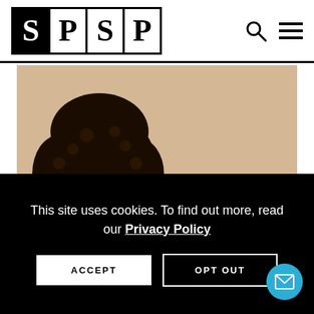[Figure (logo): SPSP logo: black box with white S, then bordered box with SP, then SP text]
[Figure (photo): Young Black woman with natural curly hair, hand on chin in thoughtful pose, against beige/tan background, wearing white top]
This site uses cookies. To find out more, read our Privacy Policy
ACCEPT
OPT OUT